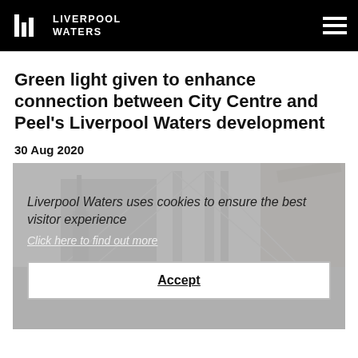LIVERPOOL WATERS
Green light given to enhance connection between City Centre and Peel's Liverpool Waters development
30 Aug 2020
[Figure (screenshot): Photograph of a bridge cable structure overlaid with a cookie consent banner reading: 'Liverpool Waters uses cookies to ensure the best visitor experience. Click here to find out more.' with an Accept button below.]